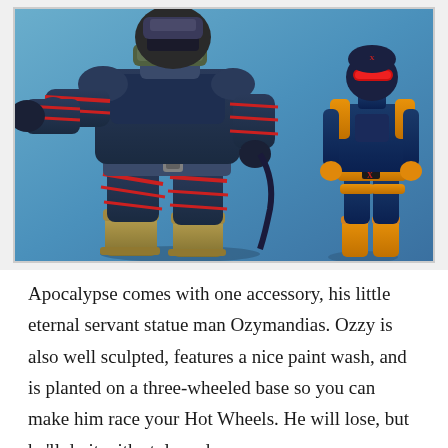[Figure (photo): Two action figures on a blue background. Left figure is Apocalypse, a large dark blue and red armored character in a crouching pose with red straps binding him. Right figure is a smaller blue and orange X-Men character (Cyclops) standing upright.]
Apocalypse comes with one accessory, his little eternal servant statue man Ozymandias. Ozzy is also well sculpted, features a nice paint wash, and is planted on a three-wheeled base so you can make him race your Hot Wheels. He will lose, but he'll do it with style and